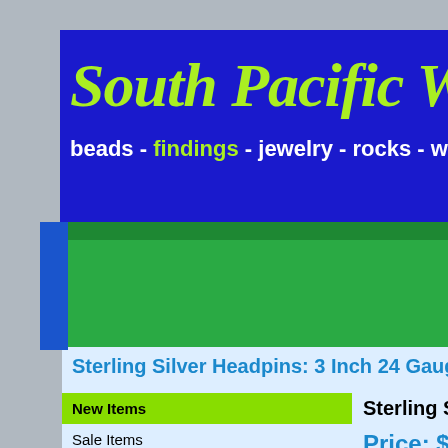South Pacific Whole
beads - findings - jewelry - rocks - wit
Home  Shows  Direc  Com
Sterling Silver Headpins: 3 Inch 24 Gauge, 100
New Items
Sale Items
Semi-Precious Bead Strands
Findings/Components
Bead Mixes
Sterling Silver Headpins: 3 I
Price: $35.00
| Quantity | 1+ |
| --- | --- |
| Price | $35.00 |
| Quantity | 1 |
ADD TO CART